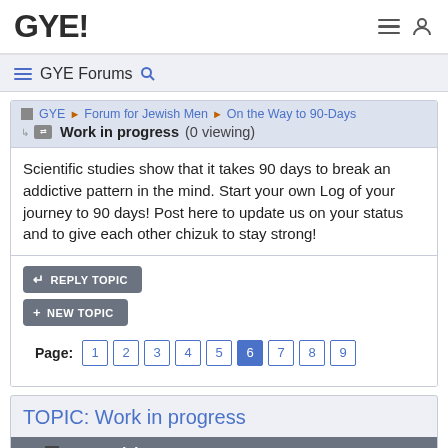GYE!
GYE Forums
GYE ▶ Forum for Jewish Men ▶ On the Way to 90-Days
Work in progress (0 viewing)
Scientific studies show that it takes 90 days to break an addictive pattern in the mind. Start your own Log of your journey to 90 days! Post here to update us on your status and to give each other chizuk to stay strong!
REPLY TOPIC
+ NEW TOPIC
Page: 1 2 3 4 5 6 7 8 9
TOPIC: Work in progress
Re: Work in progress